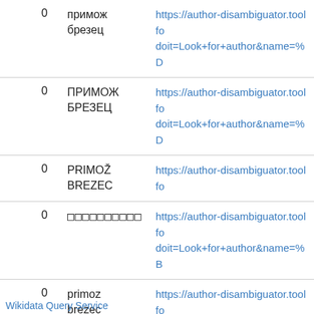|  | Name | URL |
| --- | --- | --- |
| 0 | примож
брезец | https://author-disambiguator.toolforge...
doit=Look+for+author&name=%D... |
| 0 | ПРИМОЖ
БРЕЗЕЦ | https://author-disambiguator.toolforge...
doit=Look+for+author&name=%D... |
| 0 | PRIMOŽ
BREZEC | https://author-disambiguator.toolforge... |
| 0 | □□□□□□□□□□ | https://author-disambiguator.toolforge...
doit=Look+for+author&name=%B... |
| 0 | primoz
brezec | https://author-disambiguator.toolforge... |
| 0 | □□□□□□□□□□ | https://author-disambiguator.toolforge...
doit=Look+for+author&name=%B... |
Wikidata Query Service